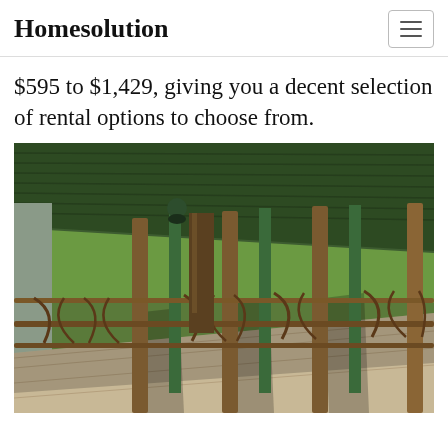Homesolution
$595 to $1,429, giving you a decent selection of rental options to choose from.
[Figure (photo): Outdoor wooden porch/deck with rustic branch-style railings, green metal support posts, and a view of lush green trees in a forest setting. The porch has a corrugated metal roof and wooden plank flooring with dappled sunlight.]